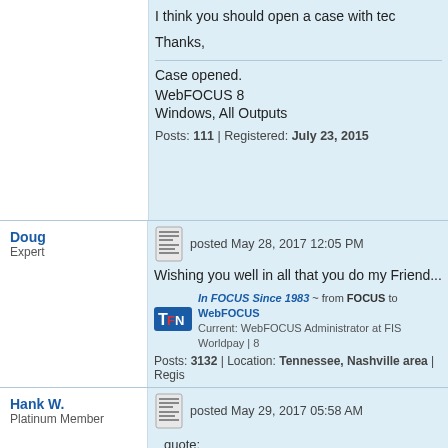I think you should open a case with tech
Thanks,
Case opened.
WebFOCUS 8
Windows, All Outputs
Posts: 111 | Registered: July 23, 2015
Doug
Expert
posted May 28, 2017 12:05 PM
Wishing you well in all that you do my Friend...
In FOCUS Since 1983 ~ from FOCUS to WebFOCUS
Current: WebFOCUS Administrator at FIS Worldpay | 8
Posts: 3132 | Location: Tennessee, Nashville area | Regis
Hank W.
Platinum Member
posted May 29, 2017 05:58 AM
quote:
You may want to open a case or maybe